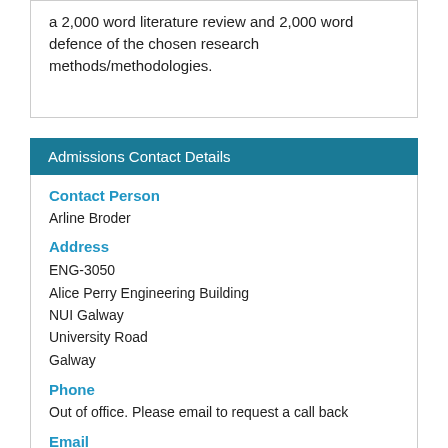a 2,000 word literature review and 2,000 word defence of the chosen research methods/methodologies.
Admissions Contact Details
Contact Person
Arline Broder
Address
ENG-3050
Alice Perry Engineering Building
NUI Galway
University Road
Galway
Phone
Out of office. Please email to request a call back
Email